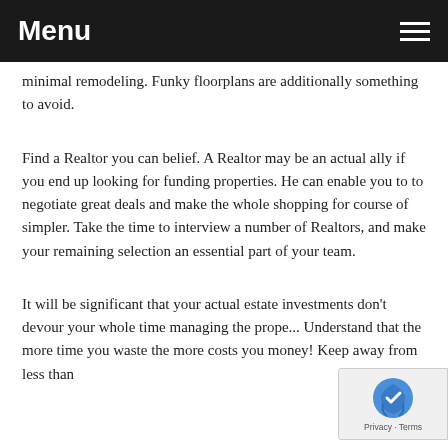Menu
minimal remodeling. Funky floorplans are additionally something to avoid.
Find a Realtor you can belief. A Realtor may be an actual ally if you end up looking for funding properties. He can enable you to to negotiate great deals and make the whole shopping for course of simpler. Take the time to interview a number of Realtors, and make your remaining selection an essential part of your team.
It will be significant that your actual estate investments don't devour your whole time managing the prope... Understand that the more time you waste the more costs you money! Keep away from less than